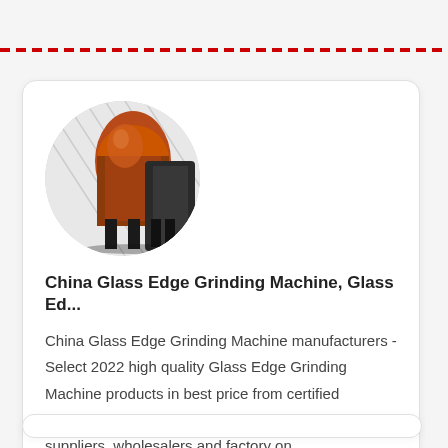[Figure (photo): Circular thumbnail photo of industrial glass edge grinding machines in a factory setting, showing large orange/red mechanical equipment]
China Glass Edge Grinding Machine, Glass Ed...
China Glass Edge Grinding Machine manufacturers - Select 2022 high quality Glass Edge Grinding Machine products in best price from certified Chinese Grinding Machine, Glass Equipment suppliers, wholesalers and factory on